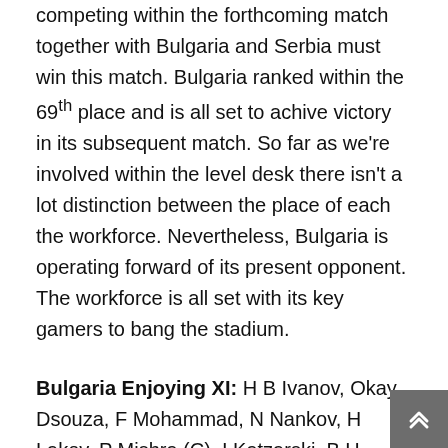competing within the forthcoming match together with Bulgaria and Serbia must win this match. Bulgaria ranked within the 69th place and is all set to achive victory in its subsequent match. So far as we're involved within the level desk there isn't a lot distinction between the place of each the workforce. Nevertheless, Bulgaria is operating forward of its present opponent. The workforce is all set with its key gamers to bang the stadium.
Bulgaria Enjoying XI: H B Ivanov, Okay Dsouza, F Mohammad, N Nankov, H Lakov, P Mishra (C), I Katzarski, B H Ivanov, S Ali, D Vinu, A Jacob.
Whereas transferring to a different workforce Serbia, the workforce has been ranked within the 73rd place within the level desk. Plainly the